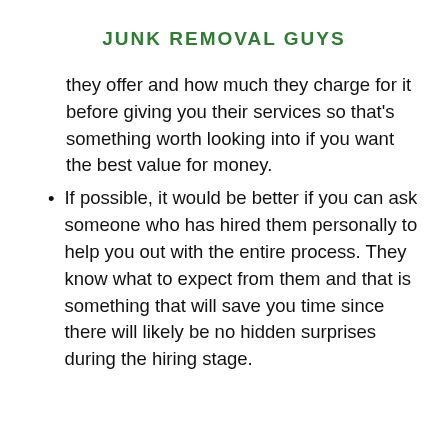JUNK REMOVAL GUYS
they offer and how much they charge for it before giving you their services so that's something worth looking into if you want the best value for money.
If possible, it would be better if you can ask someone who has hired them personally to help you out with the entire process. They know what to expect from them and that is something that will save you time since there will likely be no hidden surprises during the hiring stage.